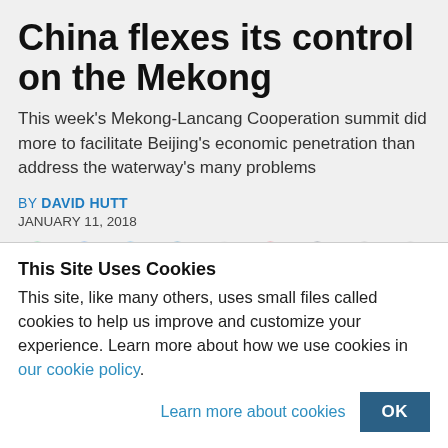China flexes its control on the Mekong
This week's Mekong-Lancang Cooperation summit did more to facilitate Beijing's economic penetration than address the waterway's many problems
By DAVID HUTT
JANUARY 11, 2018
[Figure (infographic): Row of social share icons: WhatsApp (green), Facebook (blue), Twitter (blue), LinkedIn (dark blue), Reddit (light gray), Pocket (red), Tumblr (dark navy), Email (gray), Print (gray)]
This Site Uses Cookies
This site, like many others, uses small files called cookies to help us improve and customize your experience. Learn more about how we use cookies in our cookie policy.
Learn more about cookies   OK